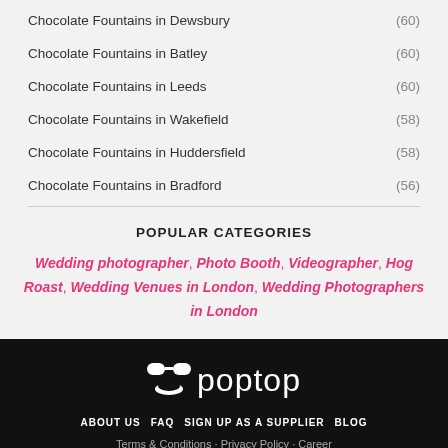Chocolate Fountains in Dewsbury (60)
Chocolate Fountains in Batley (60)
Chocolate Fountains in Leeds (60)
Chocolate Fountains in Wakefield (58)
Chocolate Fountains in Huddersfield (58)
Chocolate Fountains in Bradford (56)
POPULAR CATEGORIES
Wedding photographer, Photo Booth, Videographer, Hog Roast, Wedding Venues in London, Wedding Photographers in London
[Figure (logo): Poptop logo with sunglasses icon and wordmark in white on black background]
ABOUT US  FAQ  SIGN UP AS A SUPPLIER  BLOG  Terms & Conditions · Privacy Policy · Career